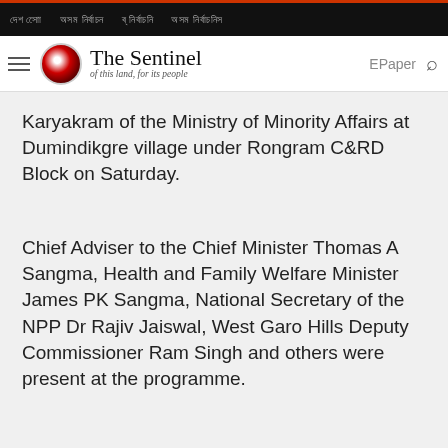The Sentinel — of this land, for its people
Karyakram of the Ministry of Minority Affairs at Dumindikgre village under Rongram C&RD Block on Saturday.
Chief Adviser to the Chief Minister Thomas A Sangma, Health and Family Welfare Minister James PK Sangma, National Secretary of the NPP Dr Rajiv Jaiswal, West Garo Hills Deputy Commissioner Ram Singh and others were present at the programme.